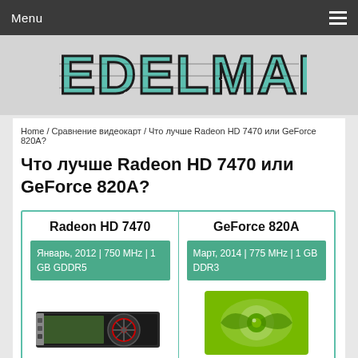Menu
[Figure (logo): EDELMARK logo in teal/dark distressed lettering on grey background]
Home / Сравнение видеокарт / Что лучше Radeon HD 7470 или GeForce 820A?
Что лучше Radeon HD 7470 или GeForce 820A?
| Radeon HD 7470 | GeForce 820A |
| --- | --- |
| Январь, 2012 | 750 MHz | 1 GB GDDR5 | Март, 2014 | 775 MHz | 1 GB DDR3 |
[Figure (photo): Photo of Radeon HD 7470 graphics card with red fan]
[Figure (logo): NVIDIA GeForce green eye logo]